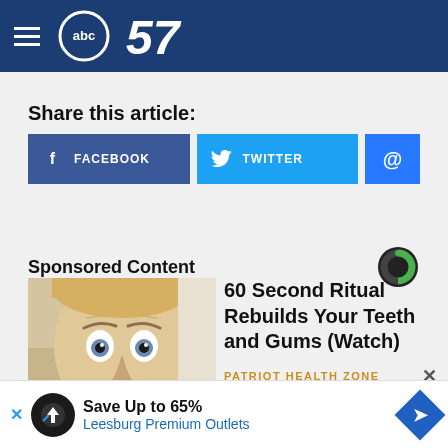abc57
Share this article:
FACEBOOK | TWITTER | @
Sponsored Content
[Figure (photo): Close-up photo of a man's face with wide eyes looking surprised]
60 Second Ritual Rebuilds Your Teeth and Gums (Watch)
PATRIOT HEALTH ZONE
Save Up to 65% Leesburg Premium Outlets